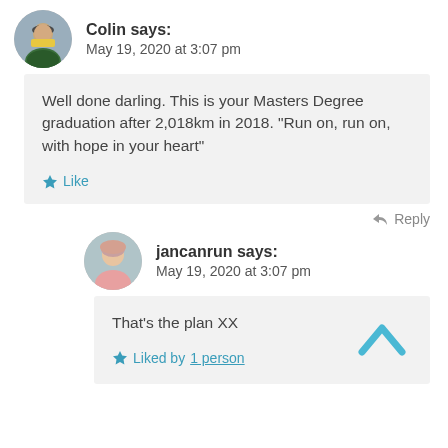Colin says: May 19, 2020 at 3:07 pm
Well done darling. This is your Masters Degree graduation after 2,018km in 2018. “Run on, run on, with hope in your heart”
★ Like
↪ Reply
jancanrun says: May 19, 2020 at 3:07 pm
That’s the plan XX
★ Liked by 1 person